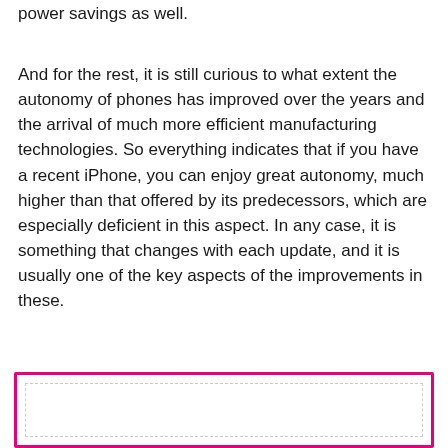power savings as well.
And for the rest, it is still curious to what extent the autonomy of phones has improved over the years and the arrival of much more efficient manufacturing technologies. So everything indicates that if you have a recent iPhone, you can enjoy great autonomy, much higher than that offered by its predecessors, which are especially deficient in this aspect. In any case, it is something that changes with each update, and it is usually one of the key aspects of the improvements in these.
[Figure (other): A pink-bordered rectangular box with a dashed inner border, partially visible at the bottom of the page.]